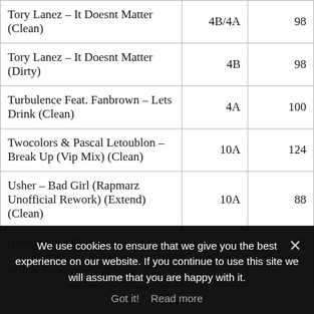| Song | Key | BPM |
| --- | --- | --- |
| Tory Lanez – It Doesnt Matter (Clean) | 4B/4A | 98 |
| Tory Lanez – It Doesnt Matter (Dirty) | 4B | 98 |
| Turbulence Feat. Fanbrown – Lets Drink (Clean) | 4A | 100 |
| Twocolors & Pascal Letoublon – Break Up (Vip Mix) (Clean) | 10A | 124 |
| Usher – Bad Girl (Rapmarz Unofficial Rework) (Extend) (Clean) | 10A | 88 |
| [partially hidden row] | 4A | 132 |
| Will K & Neville – [Mom's...] |  |  |
We use cookies to ensure that we give you the best experience on our website. If you continue to use this site we will assume that you are happy with it.